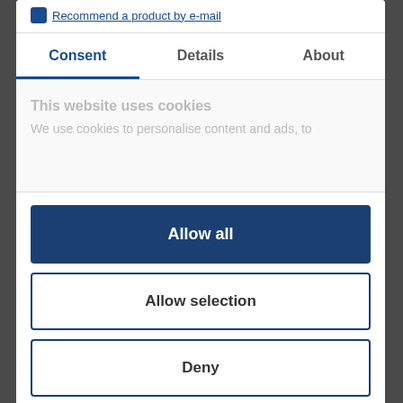Recommend a product by e-mail
Consent	Details	About
This website uses cookies
We use cookies to personalise content and ads, to
Allow all
Allow selection
Deny
Powered by Cookiebot by Usercentrics